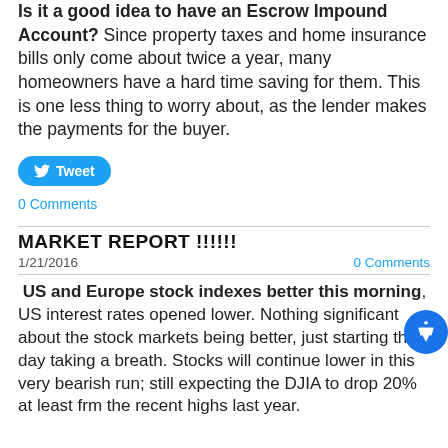Is it a good idea to have an Escrow Impound Account? Since property taxes and home insurance bills only come about twice a year, many homeowners have a hard time saving for them. This is one less thing to worry about, as the lender makes the payments for the buyer.
Tweet
0 Comments
MARKET REPORT !!!!!!
1/21/2016   0 Comments
US and Europe stock indexes better this morning, US interest rates opened lower. Nothing significant about the stock markets being better, just starting the day taking a breath. Stocks will continue lower in this very bearish run; still expecting the DJIA to drop 20% at least frm the recent highs last year.